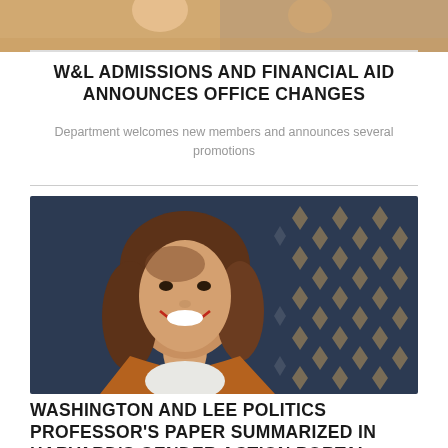[Figure (photo): Partial top image cropped at the top of the page, appears to show people in an office or institutional setting]
W&L ADMISSIONS AND FINANCIAL AID ANNOUNCES OFFICE CHANGES
Department welcomes new members and announces several promotions
[Figure (photo): Portrait photo of a smiling woman with shoulder-length brown hair, wearing a rust/brown cardigan over a white top, standing in front of a dark navy patterned background with gold geometric/floral designs]
WASHINGTON AND LEE POLITICS PROFESSOR'S PAPER SUMMARIZED IN HARVARD'S GENDER ACTION PORTAL